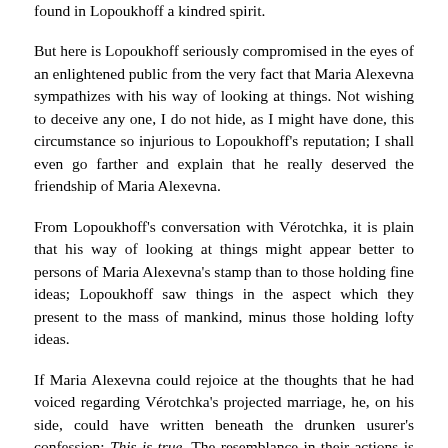found in Lopoukhoff a kindred spirit.
But here is Lopoukhoff seriously compromised in the eyes of an enlightened public from the very fact that Maria Alexevna sympathizes with his way of looking at things. Not wishing to deceive any one, I do not hide, as I might have done, this circumstance so injurious to Lopoukhoff's reputation; I shall even go farther and explain that he really deserved the friendship of Maria Alexevna.
From Lopoukhoff's conversation with Vérotchka, it is plain that his way of looking at things might appear better to persons of Maria Alexevna's stamp than to those holding fine ideas; Lopoukhoff saw things in the aspect which they present to the mass of mankind, minus those holding lofty ideas.
If Maria Alexevna could rejoice at the thoughts that he had voiced regarding Vérotchka's projected marriage, he, on his side, could have written beneath the drunken usurer's confession: This is true. The resemblance in their actions is so great that enlightened novelists holding noble ideas, journalists, and other public teachers have long since proclaimed that individuals like Lopoukhoff are in no wise distinguishable from individuals like Maria Alexevna. If writers so enlightened have thus viewed men like Lopoukhoff, is it